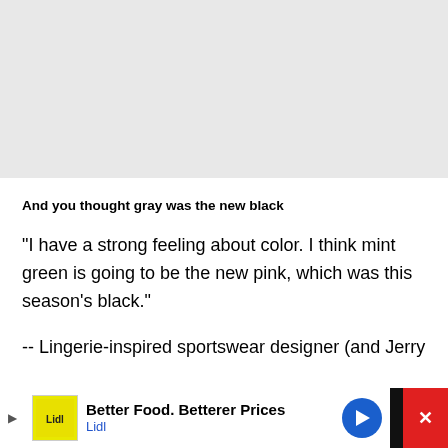[Figure (other): Gray placeholder area at the top of the page, approximately 178px tall with a light gray background and a thin bottom border.]
And you thought gray was the new black
"I have a strong feeling about color. I think mint green is going to be the new pink, which was this season's black."
-- Lingerie-inspired sportswear designer (and Jerry
[Figure (infographic): Advertisement banner at the bottom of the page for Lidl with text 'Better Food. Betterer Prices' and a red close button on the right side.]